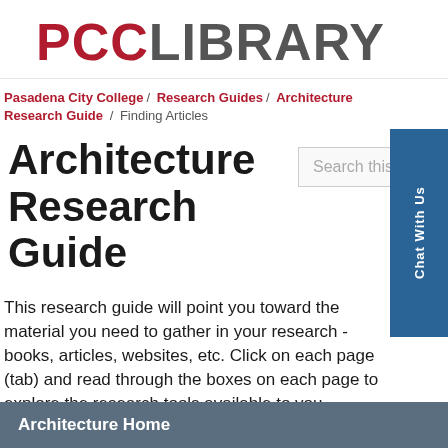PCC LIBRARY
Pasadena City College / Research Guides / Architecture Research Guide / Finding Articles
Architecture Research Guide
Search this Guide
Chat With Us
This research guide will point you toward the material you need to gather in your research - books, articles, websites, etc. Click on each page (tab) and read through the boxes on each page to explore the research tools available to you.
Architecture Home